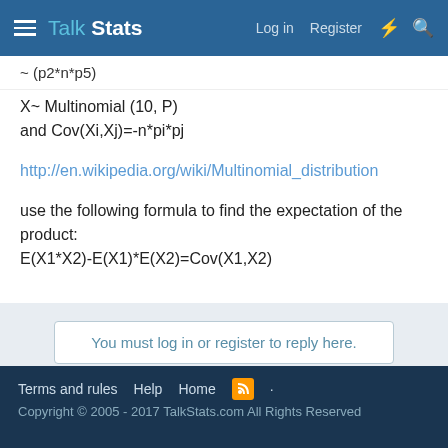Talk Stats | Log in | Register
~ (p2*n*p5)
X~ Multinomial (10, P)
and Cov(Xi,Xj)=-n*pi*pj
http://en.wikipedia.org/wiki/Multinomial_distribution
use the following formula to find the expectation of the product:
E(X1*X2)-E(X1)*E(X2)=Cov(X1,X2)
You must log in or register to reply here.
Share:
< Probability
Terms and rules  Help  Home
Copyright © 2005 - 2017 TalkStats.com All Rights Reserved